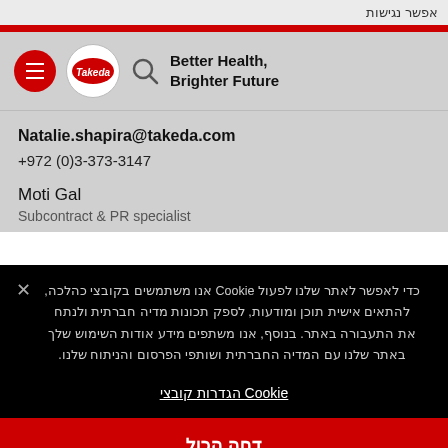אפשר נגישות
[Figure (logo): Takeda logo with menu button, search icon, and tagline: Better Health, Brighter Future]
Natalie.shapira@takeda.com
+972 (0)3-373-3147
Moti Gal
כדי לאפשר לאתר שלנו לפעול Cookie אנו משתמשים בקובצי כהלכה, להתאים אישית תוכן ומודעות, לספק תכונות מדיה חברתית ולנתח את התעבורה באתר. בנוסף, אנו משתפים מידע אודות השימוש שלך באתר שלנו עם המדיה החברתית ושותפי הפרסום והניתוח שלנו.
Cookie הגדרות קובצי
דחה הכול